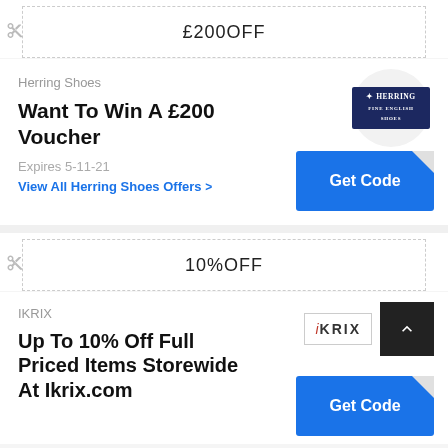£200OFF
Herring Shoes
[Figure (logo): Herring Shoes logo — dark navy rectangle with HERRING text in gold/white]
Want To Win A £200 Voucher
Expires 5-11-21
View All Herring Shoes Offers >
Get Code
10%OFF
IKRIX
[Figure (logo): IKRIX logo — stylized text iKRIX in grey/red on white background]
Up To 10% Off Full Priced Items Storewide At Ikrix.com
Get Code